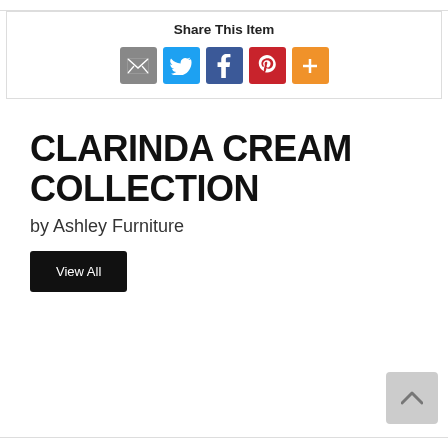Share This Item
[Figure (infographic): Social share buttons: email (gray), Twitter (blue bird), Facebook (blue f), Pinterest (red P), More (orange +)]
CLARINDA CREAM COLLECTION
by Ashley Furniture
View All